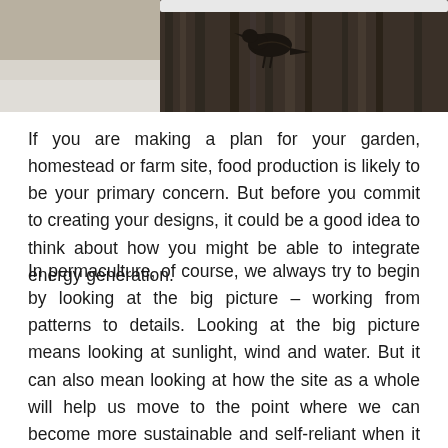[Figure (photo): Black and white photograph showing a bird (possibly a crow or raven) near a wooden fence or structure with snow visible]
If you are making a plan for your garden, homestead or farm site, food production is likely to be your primary concern. But before you commit to creating your designs, it could be a good idea to think about how you might be able to integrate energy generation.
In permaculture, of course, we always try to begin by looking at the big picture – working from patterns to details. Looking at the big picture means looking at sunlight, wind and water. But it can also mean looking at how the site as a whole will help us move to the point where we can become more sustainable and self-reliant when it comes to our basic needs.